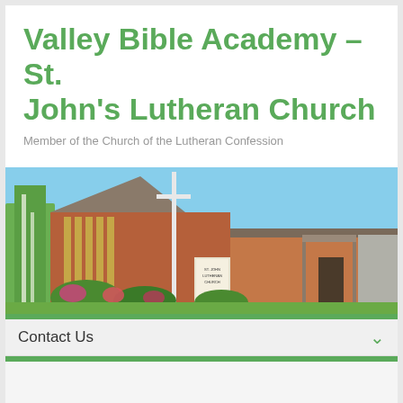Valley Bible Academy – St. John's Lutheran Church
Member of the Church of the Lutheran Confession
[Figure (photo): Exterior photo of a brick Lutheran church building with a large white cross on a pole, flowering bushes in front, blue sky background, and an entrance canopy on the right side.]
Contact Us
Our Point Of View: From Two